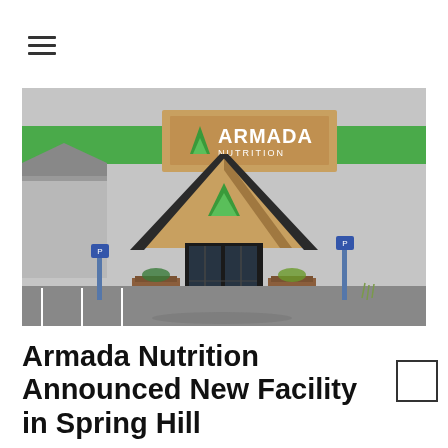☰
[Figure (photo): Exterior photo of the Armada Nutrition facility. A large commercial building with gray walls features a green horizontal stripe near the top. A wooden sign with 'ARMADA NUTRITION' in white letters is mounted on the facade. The entrance has a distinctive A-frame triangular wooden canopy with the Armada logo (green triangle) on it. Glass double doors are visible beneath the canopy. Wooden planter boxes flank the entrance. A parking lot is visible in the foreground.]
Armada Nutrition Announced New Facility in Spring Hill